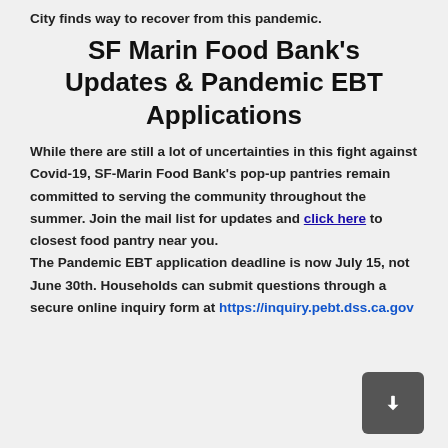City finds way to recover from this pandemic.
SF Marin Food Bank's Updates & Pandemic EBT Applications
While there are still a lot of uncertainties in this fight against Covid-19, SF-Marin Food Bank's pop-up pantries remain committed to serving the community throughout the summer. Join the mail list for updates and click here to closest food pantry near you.
The Pandemic EBT application deadline is now July 15, not June 30th. Households can submit questions through a secure online inquiry form at https://inquiry.pebt.dss.ca.gov